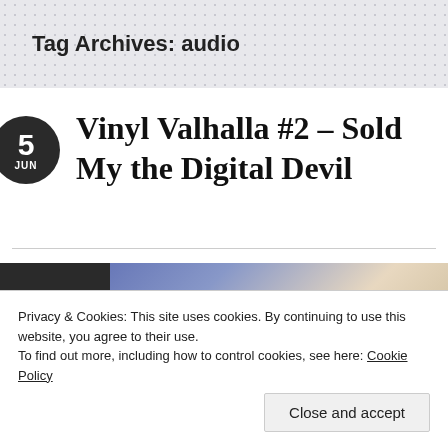Tag Archives: audio
Vinyl Valhalla #2 – Sold My the Digital Devil
[Figure (photo): Partial article thumbnail image showing dark block on left and colorful image on right]
Privacy & Cookies: This site uses cookies. By continuing to use this website, you agree to their use.
To find out more, including how to control cookies, see here: Cookie Policy
Close and accept